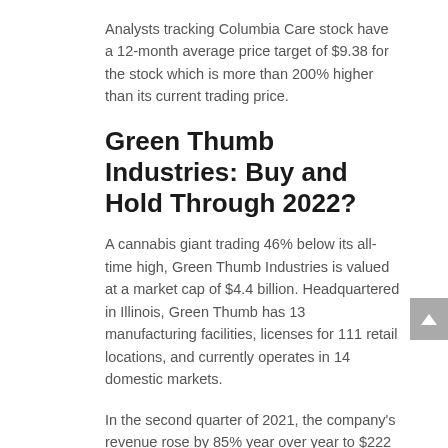Analysts tracking Columbia Care stock have a 12-month average price target of $9.38 for the stock which is more than 200% higher than its current trading price.
Green Thumb Industries: Buy and Hold Through 2022?
A cannabis giant trading 46% below its all-time high, Green Thumb Industries is valued at a market cap of $4.4 billion. Headquartered in Illinois, Green Thumb has 13 manufacturing facilities, licenses for 111 retail locations, and currently operates in 14 domestic markets.
In the second quarter of 2021, the company's revenue rose by 85% year over year to $222 million, driven by strong demand in Pennsylvania and Illinois. The Q2 of 2021 was also the fourth consecutive quarter where Green Thumb reported a